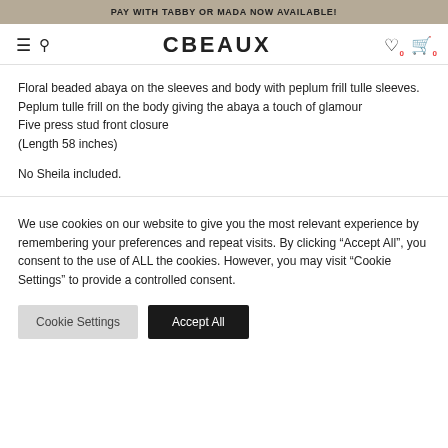PAY WITH TABBY OR MADA NOW AVAILABLE!
[Figure (logo): CBEAUX brand logo with hamburger menu, search icon on left and heart/bag icons on right]
Floral beaded abaya on the sleeves and body with peplum frill tulle sleeves.
Peplum tulle frill on the body giving the abaya a touch of glamour
Five press stud front closure
(Length 58 inches)

No Sheila included.
We use cookies on our website to give you the most relevant experience by remembering your preferences and repeat visits. By clicking “Accept All”, you consent to the use of ALL the cookies. However, you may visit “Cookie Settings” to provide a controlled consent.